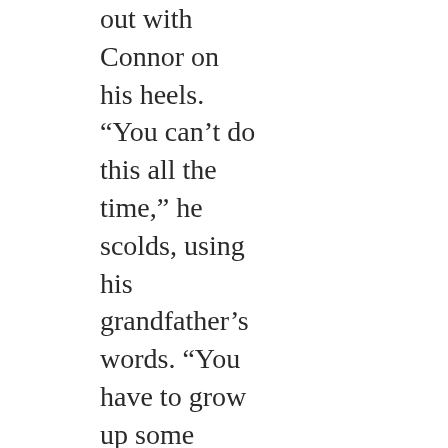out with Connor on his heels. “You can’t do this all the time,” he scolds, using his grandfather’s words. “You have to grow up some time.”

Vince doesn’t bother to